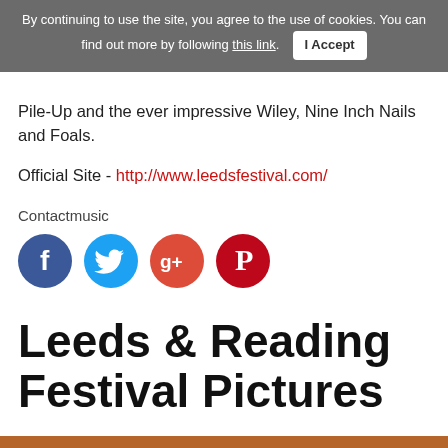By continuing to use the site, you agree to the use of cookies. You can find out more by following this link.  I Accept
Pile-Up and the ever impressive Wiley, Nine Inch Nails and Foals.
Official Site - http://www.leedsfestival.com/
Contactmusic
[Figure (infographic): Four social media icons in a row: Facebook (blue), Twitter (light blue), Google+ (orange-red), Pinterest (red)]
Leeds & Reading Festival Pictures